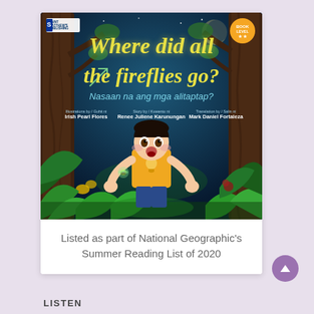[Figure (illustration): Book cover of 'Where did all the fireflies go? / Nasaan na ang mga alitaptap?' illustrated children's book. Dark forest night scene with a surprised boy in a yellow T-shirt, trees on either side, green foliage, and a small firefly glowing nearby. Published by Saint Matthew's Publishing. Illustrated by Irish Pearl Flores, story by Renee Juliene Karunungan, translation by Mark Daniel Fortaleza.]
Listed as part of National Geographic's Summer Reading List of 2020
LISTEN